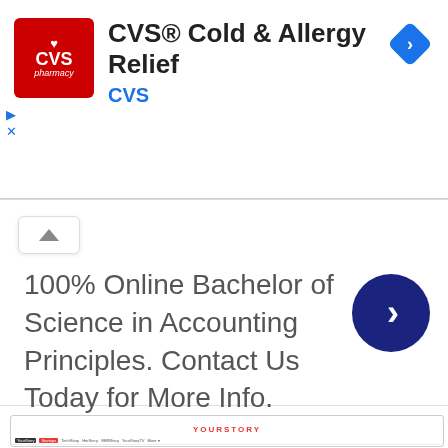[Figure (screenshot): CVS Pharmacy Cold & Allergy Relief advertisement banner with CVS logo, title text, CVS brand name in blue, navigation diamond icon top right, and ad controls (play/close) on left]
[Figure (screenshot): Second advertisement banner with collapse chevron button, text '100% Online Bachelor of Science in Accounting Principles. Contact Us Today for More Info.' and dark blue circular arrow button]
[Figure (screenshot): YourStory website screenshot showing ShareChat article category page with navigation bar, article cards with blurred thumbnail images and headlines]